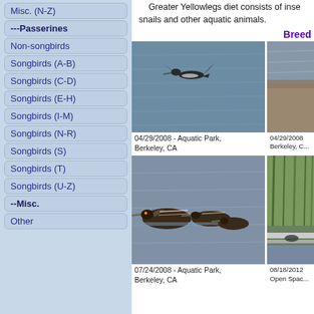Misc. (N-Z)
---Passerines
Non-songbirds
Songbirds (A-B)
Songbirds (C-D)
Songbirds (E-H)
Songbirds (I-M)
Songbirds (N-R)
Songbirds (S)
Songbirds (T)
Songbirds (U-Z)
--Misc.
Other
Greater Yellowlegs diet consists of inse... snails and other aquatic animals.
Breed...
[Figure (photo): Greater Yellowlegs bird in flight over water, Aquatic Park, Berkeley CA]
04/29/2008 - Aquatic Park, Berkeley, CA
[Figure (photo): Partial photo cropped on right side, 04/29/2008, Berkeley, CA]
04/29/2008 Berkeley, C...
[Figure (photo): Greater Yellowlegs birds swimming in water, Aquatic Park, Berkeley CA]
07/24/2008 - Aquatic Park, Berkeley, CA
[Figure (photo): Partial photo on right side 08/18/2012, Open Spac...]
08/18/2012 Open Spac...